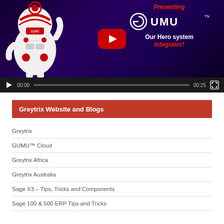[Figure (screenshot): Video player showing GUMU integration product promotion. Robot mascot on left, text 'Presenting GUMU Our Hero system integrator!' on right with YouTube play button overlay. Video controls bar at bottom showing 00:00 / 00:25.]
Greytrix Website and Blogs
Greytrix
GUMU™ Cloud
Greytrix Africa
Greytrix Australia
Sage X3 – Tips, Tricks and Components
Sage 100 & 500 ERP Tips and Tricks